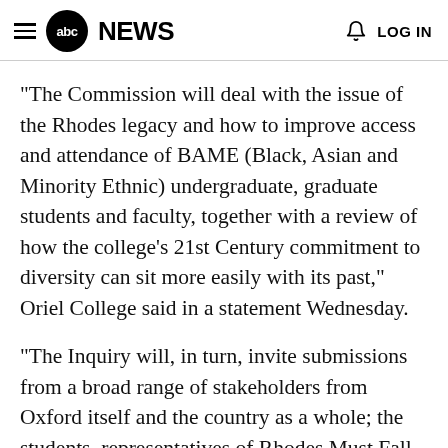abc NEWS  LOG IN
"The Commission will deal with the issue of the Rhodes legacy and how to improve access and attendance of BAME (Black, Asian and Minority Ethnic) undergraduate, graduate students and faculty, together with a review of how the college's 21st Century commitment to diversity can sit more easily with its past," Oriel College said in a statement Wednesday.
"The Inquiry will, in turn, invite submissions from a broad range of stakeholders from Oxford itself and the country as a whole; the students, representatives of Rhodes Must Fall